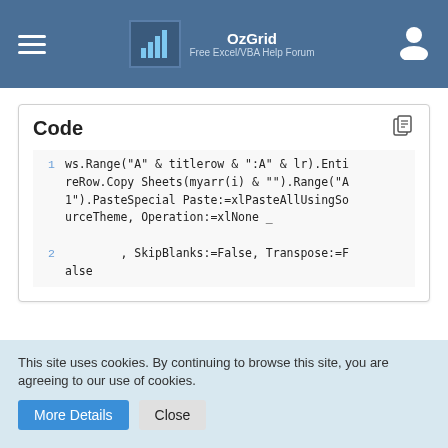OzGrid — Free Excel/VBA Help Forum
[Figure (screenshot): Code block showing VBA code with line numbers. Line 1: ws.Range("A" & titlerow & ":A" & lr).EntireRow.Copy Sheets(myarr(i) & "").Range("A1").PasteSpecial Paste:=xlPasteAllUsingSourceTheme, Operation:=xlNone _ Line 2: , SkipBlanks:=False, Transpose:=False]
I am getting error message Compile error: Expected: end of statement and it is highlighting the word "Paste" on the Paste:=xlPasteAllUsingSourceTheme
This site uses cookies. By continuing to browse this site, you are agreeing to our use of cookies.